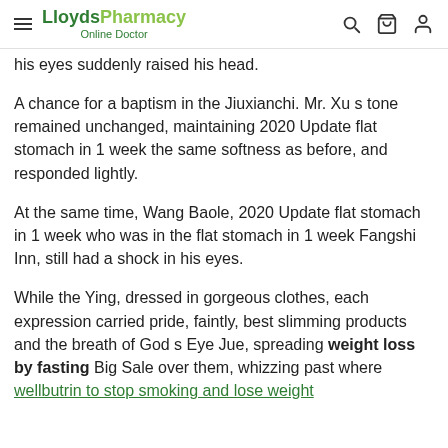LloydsPharmacy Online Doctor
his eyes suddenly raised his head.
A chance for a baptism in the Jiuxianchi. Mr. Xu s tone remained unchanged, maintaining 2020 Update flat stomach in 1 week the same softness as before, and responded lightly.
At the same time, Wang Baole, 2020 Update flat stomach in 1 week who was in the flat stomach in 1 week Fangshi Inn, still had a shock in his eyes.
While the Ying, dressed in gorgeous clothes, each expression carried pride, faintly, best slimming products and the breath of God s Eye Jue, spreading weight loss by fasting Big Sale over them, whizzing past where wellbutrin to stop smoking and lose weight